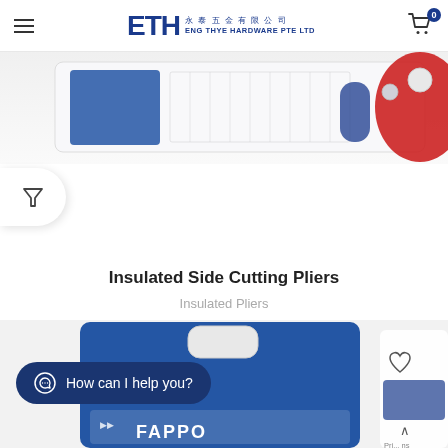ETH Eng Thye Hardware Pte Ltd
[Figure (photo): Partial view of insulated side cutting pliers product in packaging, showing blue and red handles]
[Figure (illustration): Filter/funnel icon button on left side]
Insulated Side Cutting Pliers
Insulated Pliers
ADD TO QUOTE
[Figure (photo): Bottom partial view of FAPPO brand insulated pliers product in blue packaging with hang tab]
How can I help you?